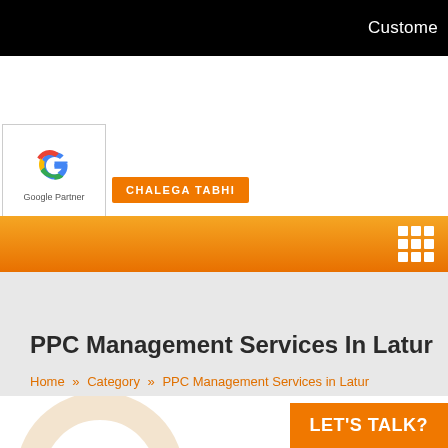Custome
[Figure (logo): Google Partner logo with colorful G icon and text 'Google Partner']
CHALEGA TABHI
[Figure (infographic): Orange navigation bar with 3x3 white grid icon on the right]
PPC Management Services In Latur
Home » Category » PPC Management Services in Latur
[Figure (illustration): Partial circle decoration at bottom of page]
LET'S TALK?